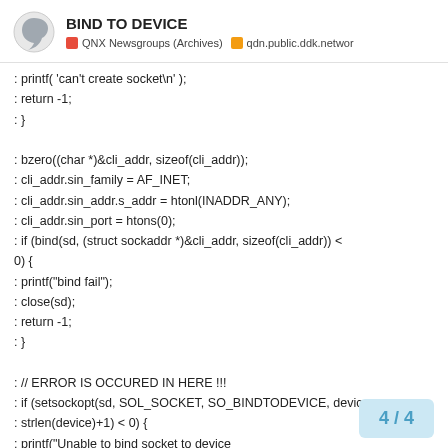BIND TO DEVICE | QNX Newsgroups (Archives) | qdn.public.ddk.networ
: printf( 'can't create socket\n' );
: return -1;
: }

: bzero((char *)&cli_addr, sizeof(cli_addr));
: cli_addr.sin_family = AF_INET;
: cli_addr.sin_addr.s_addr = htonl(INADDR_ANY);
: cli_addr.sin_port = htons(0);
: if (bind(sd, (struct sockaddr *)&cli_addr, sizeof(cli_addr)) < 0) {
: printf("bind fail");
: close(sd);
: return -1;
: }

: // ERROR IS OCCURED IN HERE !!!
: if (setsockopt(sd, SOL_SOCKET, SO_BINDTODEVICE, device,
: strlen(device)+1) < 0) {
: printf("Unable to bind socket to device
4 / 4